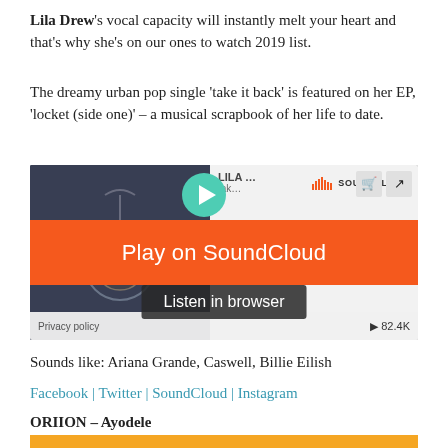Lila Drew's vocal capacity will instantly melt your heart and that's why she's on our ones to watch 2019 list.
The dreamy urban pop single 'take it back' is featured on her EP, 'locket (side one)' – a musical scrapbook of her life to date.
[Figure (screenshot): SoundCloud embedded player for Lila Drew's track 'take it back', showing orange 'Play on SoundCloud' bar, 'Listen in browser' button, privacy policy label, and 82.4K play count.]
Sounds like: Ariana Grande, Caswell, Billie Eilish
Facebook | Twitter | SoundCloud | Instagram
ORIION – Ayodele
[Figure (photo): Photo of ORIION against a yellow/orange background, showing head and shoulders.]